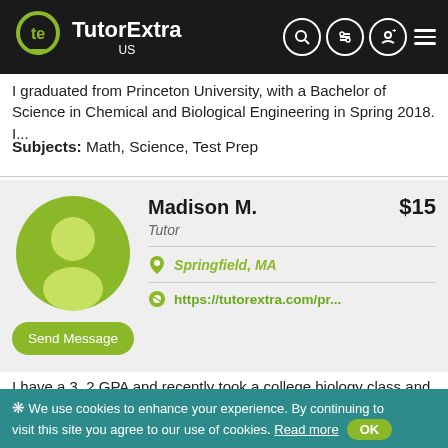TutorExtra US
I graduated from Princeton University, with a Bachelor of Science in Chemical and Biological Engineering in Spring 2018. I...
Subjects: Math, Science, Test Prep
Madison M. — Tutor — $15 — Springfield, MA — https://tutorextra.com/pr...
I have a 3. 2 GPA and recently took a college biology class and ended with a 101 as a grade. I enjoy helping kids with math an...
❋ We use cookies to enhance your experience. By continuing to visit this site you agree to our use of cookies.  Read more  OK